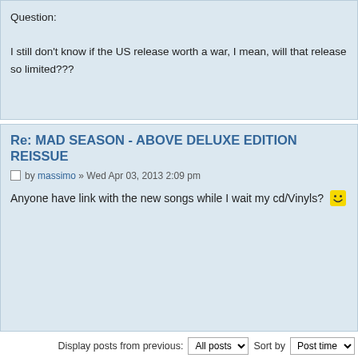Question:

I still don't know if the US release worth a war, I mean, will that release so limited???
Re: MAD SEASON - ABOVE DELUXE EDITION REISSUE
by massimo » Wed Apr 03, 2013 2:09 pm
Anyone have link with the new songs while I wait my cd/Vinyls? 😄
Display posts from previous: All posts   Sort by Post time
POST REPLY
↵ Return to Related Discography